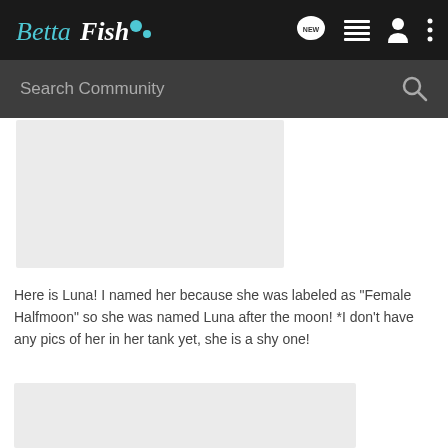BettaFish
Search Community
[Figure (photo): Gray placeholder image area at top of post]
Here is Luna! I named her because she was labeled as "Female Halfmoon" so she was named Luna after the moon! *I don't have any pics of her in her tank yet, she is a shy one!
[Figure (photo): Gray placeholder image area at bottom of post]